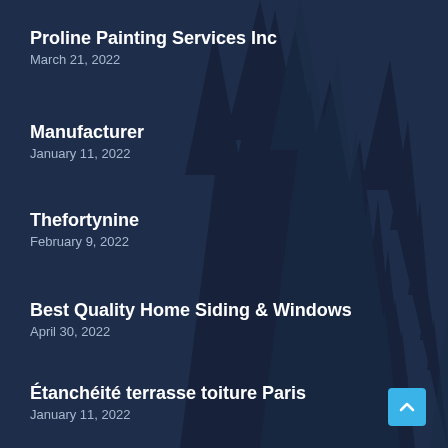Proline Painting Services Inc
March 21, 2022
Manufacturer
January 11, 2022
Thefortynine
February 9, 2022
Best Quality Home Siding & Windows
April 30, 2022
Étanchéité terrasse toiture Paris
January 11, 2022